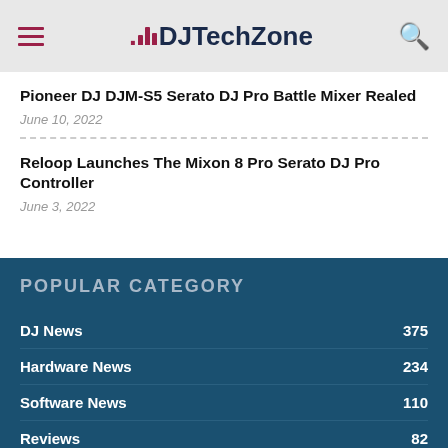DJTechZone
Pioneer DJ DJM-S5 Serato DJ Pro Battle Mixer Realed
June 10, 2022
Reloop Launches The Mixon 8 Pro Serato DJ Pro Controller
June 3, 2022
POPULAR CATEGORY
DJ News  375
Hardware News  234
Software News  110
Reviews  82
DJ Fairs  81
DJ Gear Manufacturers  75